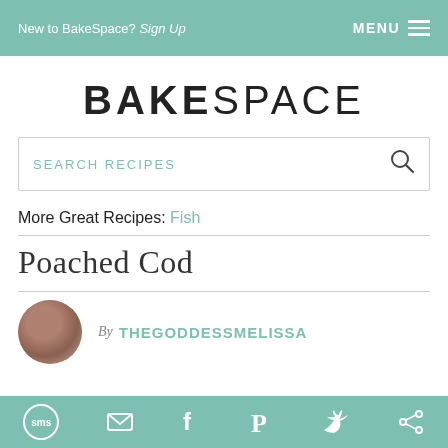New to BakeSpace? Sign Up  MENU
BAKESPACE
SEARCH RECIPES
More Great Recipes: Fish
Poached Cod
By THEGODDESSMELISSA
sms email facebook pinterest twitter other